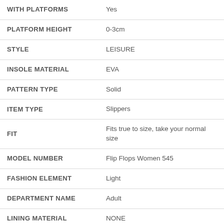| Attribute | Value |
| --- | --- |
| WITH PLATFORMS | Yes |
| PLATFORM HEIGHT | 0-3cm |
| STYLE | LEISURE |
| INSOLE MATERIAL | EVA |
| PATTERN TYPE | Solid |
| ITEM TYPE | Slippers |
| FIT | Fits true to size, take your normal size |
| MODEL NUMBER | Flip Flops Women 545 |
| FASHION ELEMENT | Light |
| DEPARTMENT NAME | Adult |
| LINING MATERIAL | NONE |
| SLIPPERS | Flip Flops Women |
| FLIP FLOPS WOMEN | Flip Flops |
| FLIP FLOPS | Women Shoes |